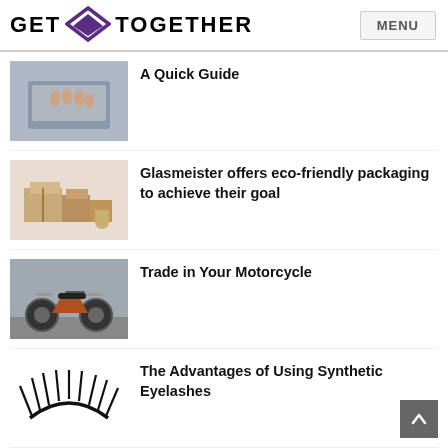GET TOGETHER | MENU
[Figure (photo): Hands typing on a laptop keyboard]
A Quick Guide
[Figure (photo): Eco-friendly cardboard boxes and packaging materials]
Glasmeister offers eco-friendly packaging to achieve their goal
[Figure (photo): Vintage motorcycle parked outdoors]
Trade in Your Motorcycle
[Figure (photo): Synthetic false eyelashes on white background]
The Advantages of Using Synthetic Eyelashes
[Figure (photo): Wall-mounted kitchen organizer with bottles and jars]
How To Maintain And Reuse Your Dropper Bottles For Cosmetic Storage